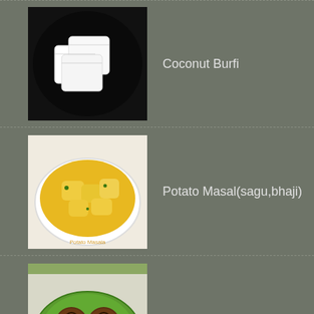Coconut Burfi
Potato Masal(sagu,bhaji)
Bread Paneer Rolls
Kadalai paruppu Sundal/Navrathri Recipes
Kozhukattai(Sweet and Salt)